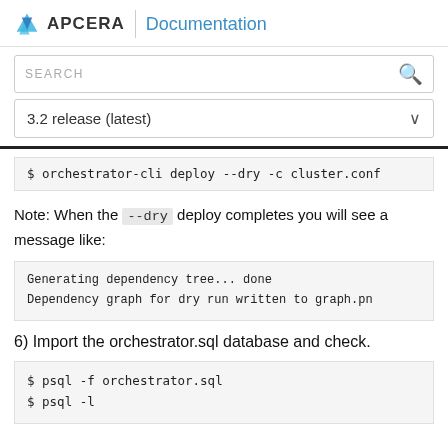APCERA Documentation
SEARCH
3.2 release (latest)
$ orchestrator-cli deploy --dry -c cluster.conf
Note: When the --dry deploy completes you will see a message like:
Generating dependency tree... done
Dependency graph for dry run written to graph.pn
6) Import the orchestrator.sql database and check.
$ psql -f orchestrator.sql
$ psql -l